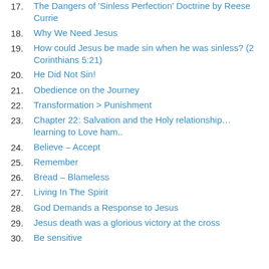17. The Dangers of 'Sinless Perfection' Doctrine by Reese Currie
18. Why We Need Jesus
19. How could Jesus be made sin when he was sinless? (2 Corinthians 5:21)
20. He Did Not Sin!
21. Obedience on the Journey
22. Transformation > Punishment
23. Chapter 22: Salvation and the Holy relationship… learning to Love ham..
24. Believe – Accept
25. Remember
26. Bread – Blameless
27. Living In The Spirit
28. God Demands a Response to Jesus
29. Jesus death was a glorious victory at the cross
30. Be sensitive